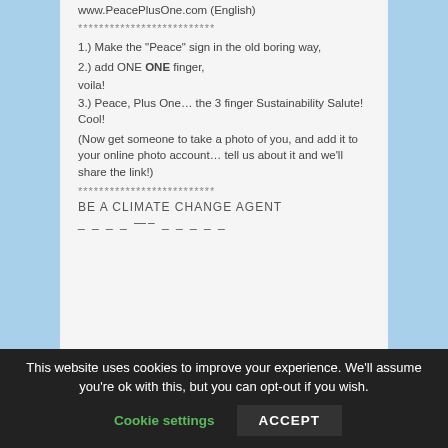www.PeacePlusOne.com (English)
**************************
1.) Make the "Peace" sign in the old boring way,
2.) add ONE finger,
voila!
3.) Peace, Plus One… the 3 finger Sustainability Salute! Cool!
(Now get someone to take a photo of you, and add it to your online photo account… tell us about it and we'll share the link!)
**************************
BE A CLIMATE CHANGE AGENT
_ _ _ _ _— _ _ _ _ _
This website uses cookies to improve your experience. We'll assume you're ok with this, but you can opt-out if you wish.
Cookie settings
ACCEPT